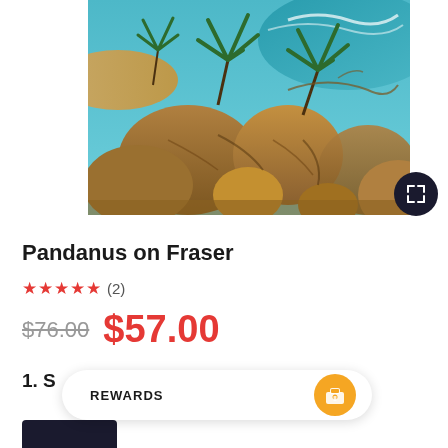[Figure (photo): Aerial/elevated view of rocky coastal landscape with pandanus trees, large boulders, sandy beach and turquoise ocean water on Fraser Island]
Pandanus on Fraser
★★★★★ (2)
$76.00  $57.00
1. S
REWARDS